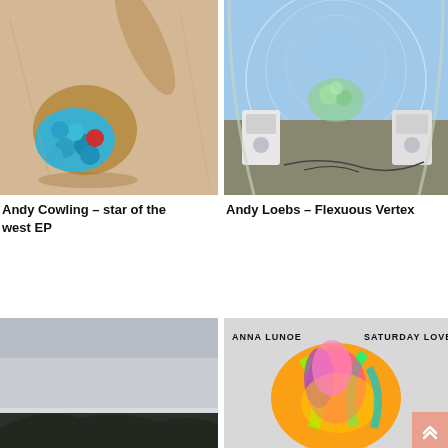[Figure (photo): Wooden spoon with blue and red circular tokens/coins]
Andy Cowling – star of the west EP
[Figure (photo): Fish-eye lens photo of a room with two white speakers and floating green spheres]
Andy Loebs – Flexuous Vertex
[Figure (photo): Gray sky with dark mountains or hills at the bottom]
[Figure (photo): Colorful abstract neon-colored flower or organic shape, with ANNA LUNOE and SATURDAY LOVE text overlay]